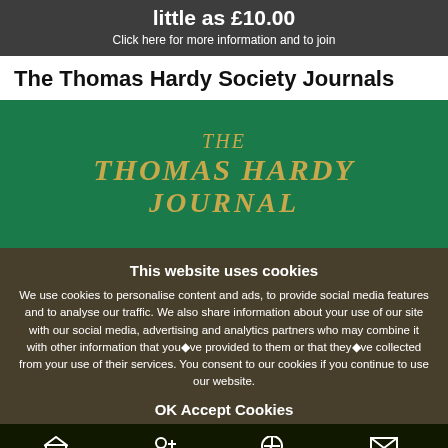little as £10.00
Click here for more information and to join
The Thomas Hardy Society Journals
[Figure (illustration): Green book cover of The Thomas Hardy Journal with gold italic text reading THE THOMAS HARDY JOURNAL]
This website uses cookies
We use cookies to personalise content and ads, to provide social media features and to analyse our traffic. We also share information about your use of our site with our social media, advertising and analytics partners who may combine it with other information that you've provided to them or that they've collected from your use of their services. You consent to our cookies if you continue to use our website.
OK Accept Cookies
HOME   JOIN US   MENU   CONTACT